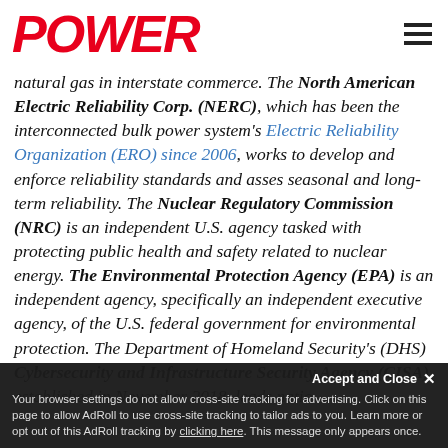POWER
natural gas in interstate commerce. The North American Electric Reliability Corp. (NERC), which has been the interconnected bulk power system's Electric Reliability Organization (ERO) since 2006, works to develop and enforce reliability standards and asses seasonal and long-term reliability. The Nuclear Regulatory Commission (NRC) is an independent U.S. agency tasked with protecting public health and safety related to nuclear energy. The Environmental Protection Agency (EPA) is an independent agency, specifically an independent executive agency, of the U.S. federal government for environmental protection. The Department of Homeland Security's (DHS) Cybersecurity and Infrastructure Security Agency (CISA), established in November 2018, leads national...
Accept and Close ✕ Your browser settings do not allow cross-site tracking for advertising. Click on this page to allow AdRoll to use cross-site tracking to tailor ads to you. Learn more or opt out of this AdRoll tracking by clicking here. This message only appears once.